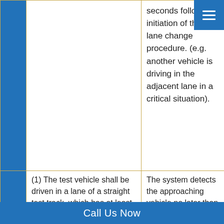|  | Test Procedure | Pass Criteria |
| --- | --- | --- |
|  |  | seconds following initiation of the lane change procedure. (e.g. another vehicle is driving in the adjacent lane in a critical situation). |
|  | (1) The test vehicle shall be driven in a lane of a straight test track, which has at least two lanes in the same direction of travel, with road markings on | The system detects the approaching vehicle no later than at |
Call Us Now